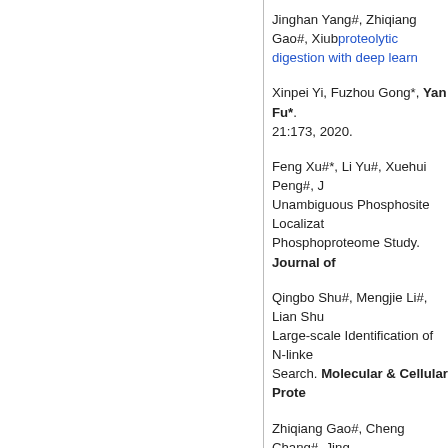Jinghan Yang#, Zhiqiang Gao#, Xiub... proteolytic digestion with deep learn...
Xinpei Yi, Fuzhou Gong*, Yan Fu*. ... 21:173, 2020.
Feng Xu#*, Li Yu#, Xuehui Peng#, J... Unambiguous Phosphosite Localizat... Phosphoproteome Study. Journal of...
Qingbo Shu#, Mengjie Li#, Lian Shu... Large-scale Identification of N-linke... Search. Molecular & Cellular Prote...
Zhiqiang Gao#, Cheng Chang#, Jing... Proteomics by Incorporating Peptide...
Zhiwu An#, Linhui Zhai#, Wantao Y... Control of Protein Modifications Det... Characterization in Human Proteome...
Cheng Chang#, Zhiqiang Gao#, Wan... Zhu*, Fuchu He*. LFAQ: towards u... factors. Analytical Chemistry, 2019...